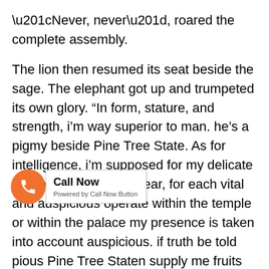“Never, never”, roared the complete assembly.
The lion then resumed its seat beside the sage. The elephant got up and trumpeted its own glory. “In form, stature, and strength, i’m way superior to man. he’s a pigmy beside Pine Tree State. As for intelligence, i’m supposed for my delicate intellect. Since yesteryear, for each vital and auspicious operate within the temple or within the palace my presence is taken into account auspicious. if truth be told pious Pine Tree Staten supply me fruits and flowers with deep feelings of reverence. however will man decision himself superior to us?” the complete assembly roared: “He cannot, he can’t”. The elephant went back to its seat by the aspect of the sage.
Then came forward the dog and saluting one and every one within the assembly aforesaid aloud: “I have sound reason to assert that the animals square measure dedicated superior to human beings. regard example, the standard of affection, fidelity and loyalty. will any man boast of himself being superior to the dog in these